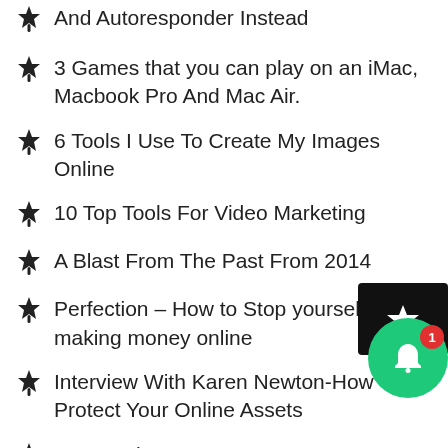And Autoresponder Instead
3 Games that you can play on an iMac, Macbook Pro And Mac Air.
6 Tools I Use To Create My Images Online
10 Top Tools For Video Marketing
A Blast From The Past From 2014
Perfection – How to Stop yourself making money online
Interview With Karen Newton-How To Protect Your Online Assets
Your Lucky
Are You Feeling Stuck In Your Online Business?